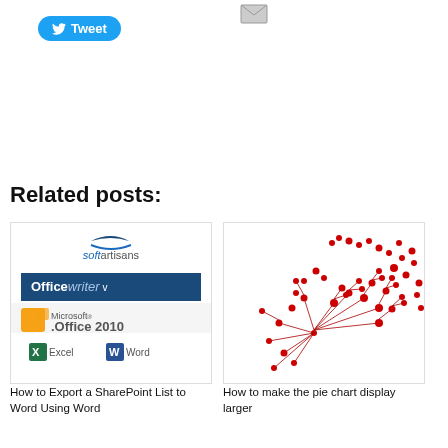[Figure (other): Email icon envelope]
[Figure (other): Tweet button with Twitter bird icon]
Related posts:
[Figure (screenshot): SoftArtisans OfficeWriter and Microsoft Office 2010 with Excel and Word logos]
How to Export a SharePoint List to Word Using Word
[Figure (illustration): Red scattered dots forming a dandelion or burst pattern on white background]
How to make the pie chart display larger